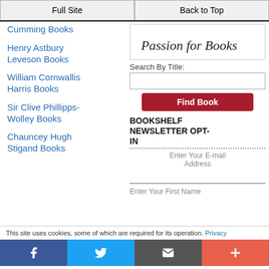Full Site | Back to Top
Cumming Books
Henry Astbury Leveson Books
William Cornwallis Harris Books
Sir Clive Phillipps-Wolley Books
Chauncey Hugh Stigand Books
[Figure (screenshot): Handwritten text reading 'Passion for Books' in a bordered box]
Search By Title:
Find Book
BOOKSHELF NEWSLETTER OPT-IN
Enter Your E-mail Address
Enter Your First Name
This site uses cookies, some of which are required for its operation. Privacy